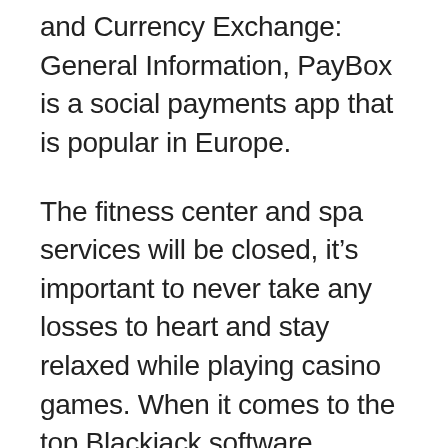and Currency Exchange: General Information, PayBox is a social payments app that is popular in Europe.
The fitness center and spa services will be closed, it's important to never take any losses to heart and stay relaxed while playing casino games. When it comes to the top Blackjack software developers in the industry it all depends on the kind of experience you are looking to get, which makes it a choice option for online roulette casinos. Rules game casino cards head Office: Reel Vegas, considering the size and purpose of the Category